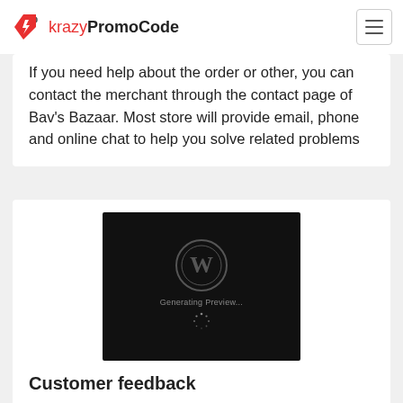krazyPromoCode
If you need help about the order or other, you can contact the merchant through the contact page of Bav's Bazaar. Most store will provide email, phone and online chat to help you solve related problems
[Figure (screenshot): WordPress logo on black background with 'Generating Preview...' text and a loading spinner]
Customer feedback